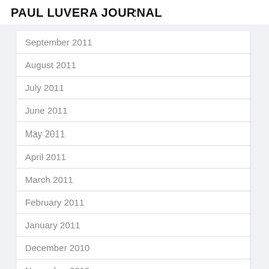PAUL LUVERA JOURNAL
September 2011
August 2011
July 2011
June 2011
May 2011
April 2011
March 2011
February 2011
January 2011
December 2010
November 2010